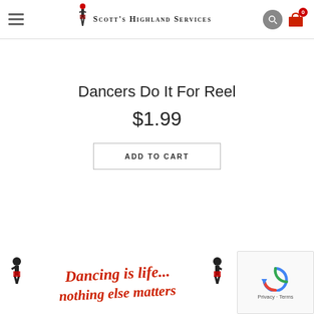Scott's Highland Services — navigation header with hamburger menu, logo, search icon, and cart (0 items)
Dancers Do It For Reel
$1.99
ADD TO CART
[Figure (photo): Bumper sticker reading 'Dancing is life... nothing else matters' with Scottish Highland dancer silhouettes on each side, red stylized text on white background]